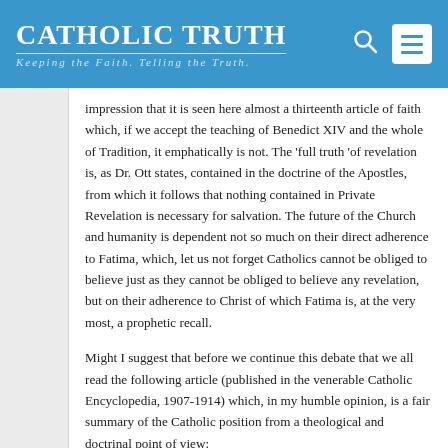CATHOLIC TRUTH — Keeping the Faith. Telling the Truth.
impression that it is seen here almost a thirteenth article of faith which, if we accept the teaching of Benedict XIV and the whole of Tradition, it emphatically is not. The 'full truth 'of revelation is, as Dr. Ott states, contained in the doctrine of the Apostles, from which it follows that nothing contained in Private Revelation is necessary for salvation. The future of the Church and humanity is dependent not so much on their direct adherence to Fatima, which, let us not forget Catholics cannot be obliged to believe just as they cannot be obliged to believe any revelation, but on their adherence to Christ of which Fatima is, at the very most, a prophetic recall.
Might I suggest that before we continue this debate that we all read the following article (published in the venerable Catholic Encyclopedia, 1907-1914) which, in my humble opinion, is a fair summary of the Catholic position from a theological and doctrinal point of view:
https://www.newadvent.org/cathen/13005a.htm